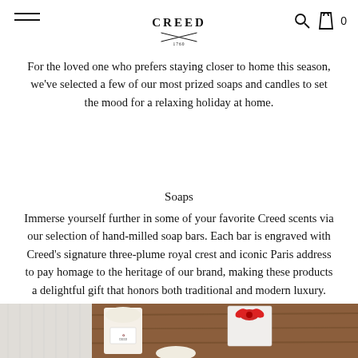CREED 1760 [logo] [search icon] [bag icon] 0
For the loved one who prefers staying closer to home this season, we've selected a few of our most prized soaps and candles to set the mood for a relaxing holiday at home.
Soaps
Immerse yourself further in some of your favorite Creed scents via our selection of hand-milled soap bars. Each bar is engraved with Creed's signature three-plume royal crest and iconic Paris address to pay homage to the heritage of our brand, making these products a delightful gift that honors both traditional and modern luxury.
[Figure (photo): Overhead photo on a wooden surface showing Creed soap bars in packaging with the Creed crest label, a small white square dish with a red bow, and another loose soap bar, placed next to a white folded towel.]